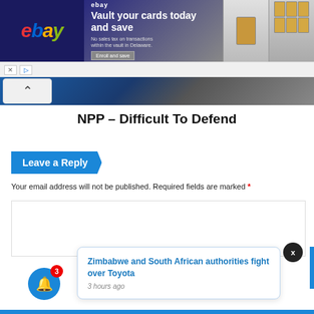[Figure (screenshot): eBay advertisement banner: 'Vault your cards today and save. No sales tax on transactions within the vault in Delaware. Enroll and save.' with card images on right.]
NPP – Difficult To Defend
Leave a Reply
Your email address will not be published. Required fields are marked *
[Figure (screenshot): Comment text area input box]
Zimbabwe and South African authorities fight over Toyota
3 hours ago